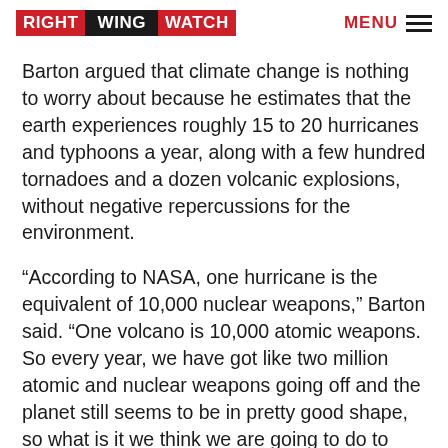RIGHT WING WATCH | MENU
Barton argued that climate change is nothing to worry about because he estimates that the earth experiences roughly 15 to 20 hurricanes and typhoons a year, along with a few hundred tornadoes and a dozen volcanic explosions, without negative repercussions for the environment.
“According to NASA, one hurricane is the equivalent of 10,000 nuclear weapons,” Barton said. “One volcano is 10,000 atomic weapons. So every year, we have got like two million atomic and nuclear weapons going off and the planet still seems to be in pretty good shape, so what is it we think we are going to do to damage the planet?”